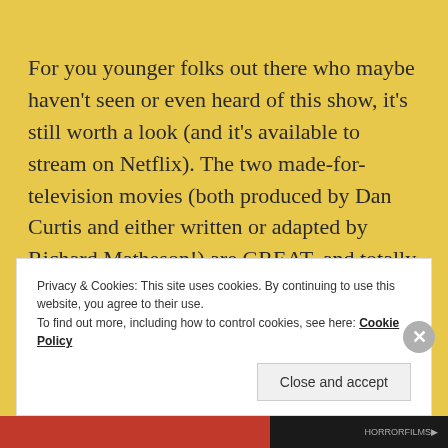For you younger folks out there who maybe haven't seen or even heard of this show, it's still worth a look (and it's available to stream on Netflix). The two made-for-television movies (both produced by Dan Curtis and either written or adapted by Richard Matheson!) are GREAT, and totally worth looking into.
Privacy & Cookies: This site uses cookies. By continuing to use this website, you agree to their use. To find out more, including how to control cookies, see here: Cookie Policy
Close and accept